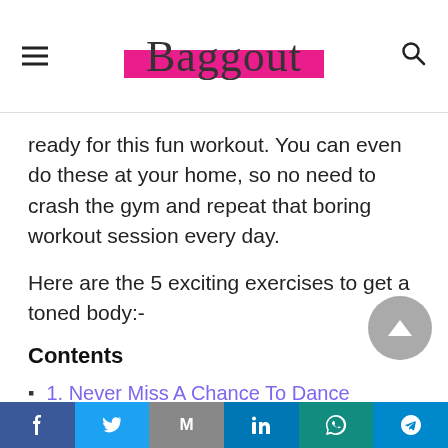Baggout
ready for this fun workout. You can even do these at your home, so no need to crash the gym and repeat that boring workout session every day.
Here are the 5 exciting exercises to get a toned body:-
Contents
1. Never Miss A Chance To Dance
2. Put On Your Boxing Gloves
3. Zumba Should Be Your Happy Hour
Facebook | Twitter | Gmail | LinkedIn | WhatsApp | Telegram